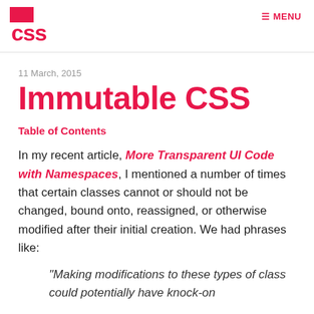CSS MENU
11 March, 2015
Immutable CSS
Table of Contents
In my recent article, More Transparent UI Code with Namespaces, I mentioned a number of times that certain classes cannot or should not be changed, bound onto, reassigned, or otherwise modified after their initial creation. We had phrases like:
“Making modifications to these types of class could potentially have knock-on